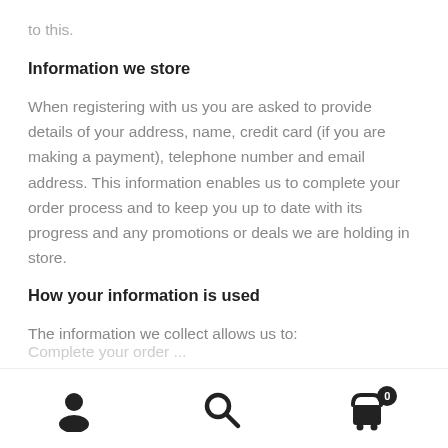to this.
Information we store
When registering with us you are asked to provide details of your address, name, credit card (if you are making a payment), telephone number and email address. This information enables us to complete your order process and to keep you up to date with its progress and any promotions or deals we are holding in store.
How your information is used
The information we collect allows us to:
[navigation icons: user, search, cart (0)]